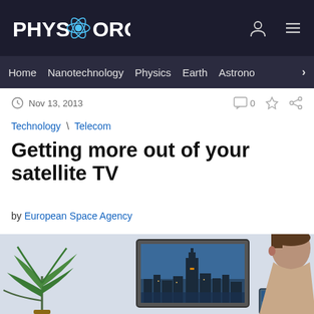PHYS.ORG
Home | Nanotechnology | Physics | Earth | Astronomy
Nov 13, 2013  0
Technology \ Telecom
Getting more out of your satellite TV
by European Space Agency
[Figure (photo): Person holding a tablet looking at a flat screen TV on the wall showing a city skyline (Empire State Building area), with a plant on the left side.]